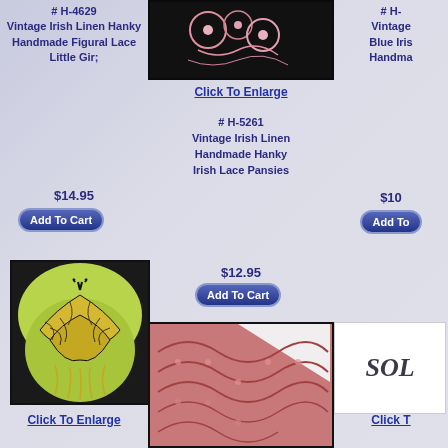# H-4629 Vintage Irish Linen Hanky Handmade Figural Lace Little Gir;
$14.95
Add To Cart
[Figure (photo): Vintage Irish linen hanky with butterfly figural lace on black and yellow background]
Click To Enlarge
[Figure (photo): Pink Irish lace hanky close-up on dark background]
Click To Enlarge
# H-5261 Vintage Irish Linen Handmade Hanky Irish Lace Pansies
$12.95
Add To Cart
[Figure (photo): Pink Irish lace shawl/hanky draped showing lace pattern]
# H- Vintage Blue Iris Handma
$10
Add To
[Figure (photo): SOLD sign on white background]
Click T